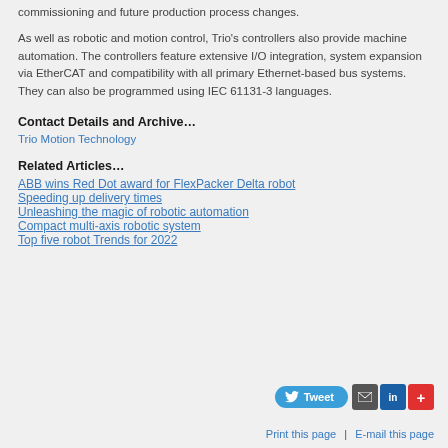commissioning and future production process changes.
As well as robotic and motion control, Trio's controllers also provide machine automation. The controllers feature extensive I/O integration, system expansion via EtherCAT and compatibility with all primary Ethernet-based bus systems. They can also be programmed using IEC 61131-3 languages.
Contact Details and Archive…
Trio Motion Technology
Related Articles…
ABB wins Red Dot award for FlexPacker Delta robot
Speeding up delivery times
Unleashing the magic of robotic automation
Compact multi-axis robotic system
Top five robot Trends for 2022
[Figure (other): Social sharing buttons: Tweet, Email, LinkedIn, and a plus/more button]
Print this page | E-mail this page